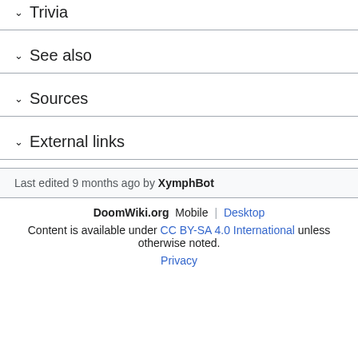Trivia
See also
Sources
External links
Last edited 9 months ago by XymphBot
DoomWiki.org  Mobile | Desktop
Content is available under CC BY-SA 4.0 International unless otherwise noted.
Privacy